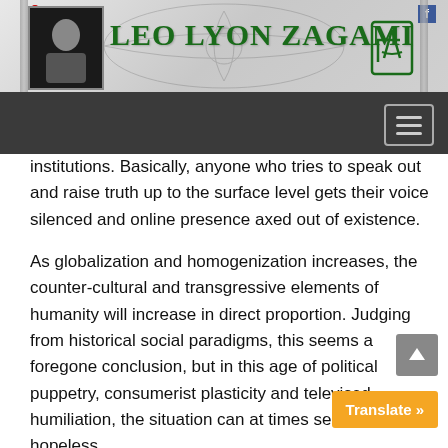[Figure (logo): Leo Lyon Zagami website header banner with author photo on left, site name in green serif font, Masonic symbols, decorative snake/eye watermark on grey gradient background]
[Figure (screenshot): Dark navigation bar with hamburger menu button on the right]
institutions. Basically, anyone who tries to speak out and raise truth up to the surface level gets their voice silenced and online presence axed out of existence.
As globalization and homogenization increases, the counter-cultural and transgressive elements of humanity will increase in direct proportion. Judging from historical social paradigms, this seems a foregone conclusion, but in this age of political puppetry, consumerist plasticity and televised humiliation, the situation can at times seem almost hopeless.
This is why it is important to understand that in times like these secret societies and cults spring up everywhere promising enlightenment for a high price.
There has been awakening of sorts with